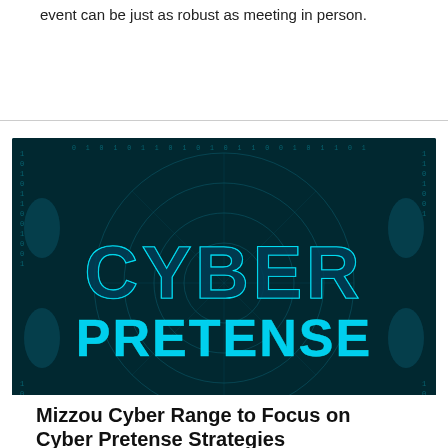event can be just as robust as meeting in person.
[Figure (photo): Dark teal/blue digital cyberpunk image with glowing blue 3D wireframe letters spelling 'CYBER' on top and 'PRETENSE' below in bold bright cyan, with binary code and circular digital patterns in the background.]
Mizzou Cyber Range to Focus on Cyber Pretense Strategies